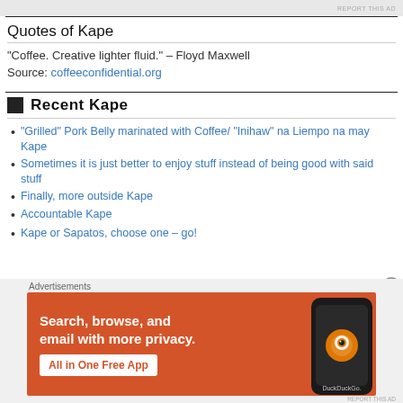Quotes of Kape
“Coffee. Creative lighter fluid.” – Floyd Maxwell
Source: coffeeconfidential.org
Recent Kape
“Grilled” Pork Belly marinated with Coffee/ “Inihaw” na Liempo na may Kape
Sometimes it is just better to enjoy stuff instead of being good with said stuff
Finally, more outside Kape
Accountable Kape
Kape or Sapatos, choose one – go!
[Figure (advertisement): DuckDuckGo advertisement banner: Search, browse, and email with more privacy. All in One Free App. Orange background with phone showing DuckDuckGo logo.]